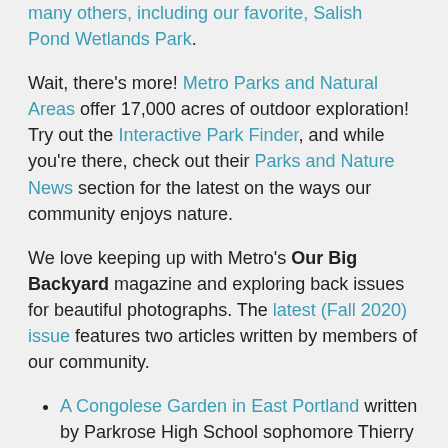many others, including our favorite, Salish Pond Wetlands Park.
Wait, there's more! Metro Parks and Natural Areas offer 17,000 acres of outdoor exploration! Try out the Interactive Park Finder, and while you're there, check out their Parks and Nature News section for the latest on the ways our community enjoys nature.
We love keeping up with Metro's Our Big Backyard magazine and exploring back issues for beautiful photographs. The latest (Fall 2020) issue features two articles written by members of our community.
A Congolese Garden in East Portland written by Parkrose High School sophomore Thierry Ndayisaba
Reclaiming Nature for People of Color written by People of Color Outdoors founder Pamela Slaughter